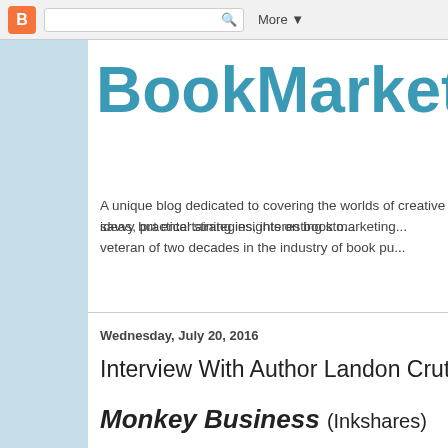Blogger | [search box] | More ▼
BookMarketin
A unique blog dedicated to covering the worlds of creative ideas, practical strategies, interesting sto... savvy but entertaining insights on book marketing... veteran of two decades in the industry of book pu...
Wednesday, July 20, 2016
Interview With Author Landon Crutche...
Monkey Business (Inkshares)